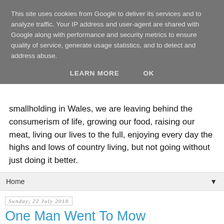This site uses cookies from Google to deliver its services and to analyze traffic. Your IP address and user-agent are shared with Google along with performance and security metrics to ensure quality of service, generate usage statistics, and to detect and address abuse.
LEARN MORE   OK
smallholding in Wales, we are leaving behind the consumerism of life, growing our food, raising our meat, living our lives to the full, enjoying every day the highs and lows of country living, but not going without just doing it better.
Home
Sunday, 22 July 2018
One Man Went To Mow
This is the song that I have been singing just lately
[Figure (photo): Grassy field or meadow, green vegetation]